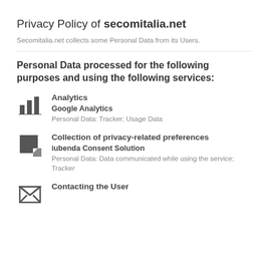Privacy Policy of secomitalia.net
Secomitalia.net collects some Personal Data from its Users.
Personal Data processed for the following purposes and using the following services:
Analytics
Google Analytics
Personal Data: Tracker; Usage Data
Collection of privacy-related preferences
iubenda Consent Solution
Personal Data: Data communicated while using the service; Tracker
Contacting the User